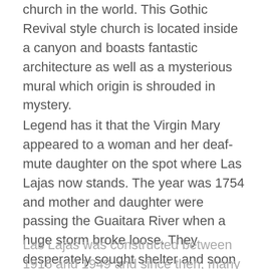church in the world. This Gothic Revival style church is located inside a canyon and boasts fantastic architecture as well as a mysterious mural which origin is shrouded in mystery.
Legend has it that the Virgin Mary appeared to a woman and her deaf-mute daughter on the spot where Las Lajas now stands. The year was 1754 and mother and daughter were passing the Guaitara River when a huge storm broke loose. They desperately sought shelter and soon felt an invisible force guiding them towards a cave. Once inside, the woman's young daughter pointed to an image of the Virgin Mary that had appeared on a cave wall. Suddenly the girl could hear and speak. The story of this miraculous event was spread far and wide and a few years later the first shrine was built on the site.
Las Lajas was constructed between 1916 and 1949 and since then, many more cases of miraculous healing have been reported.